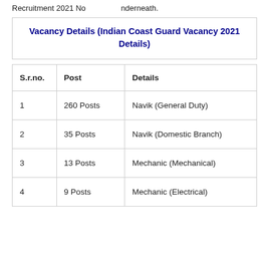Recruitment 2021 Notification underneath.
Vacancy Details (Indian Coast Guard Vacancy 2021 Details)
| S.r.no. | Post | Details |
| --- | --- | --- |
| 1 | 260 Posts | Navik (General Duty) |
| 2 | 35 Posts | Navik (Domestic Branch) |
| 3 | 13 Posts | Mechanic (Mechanical) |
| 4 | 9 Posts | Mechanic (Electrical) |